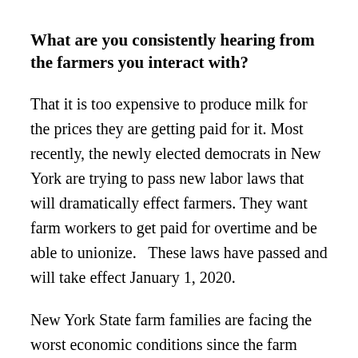What are you consistently hearing from the farmers you interact with?
That it is too expensive to produce milk for the prices they are getting paid for it. Most recently, the newly elected democrats in New York are trying to pass new labor laws that will dramatically effect farmers. They want farm workers to get paid for overtime and be able to unionize.   These laws have passed and will take effect January 1, 2020.
New York State farm families are facing the worst economic conditions since the farm